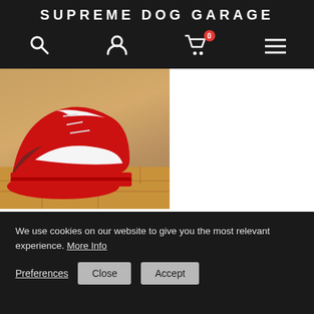SUPREME DOG GARAGE
[Figure (screenshot): E-commerce product card showing red and white dog shoes/sneakers. Product title: Classy Hype Dog Shoes For Walking. 5-star rating. Original price $79.00 struck through, sale price $59.00 in red.]
We use cookies on our website to give you the most relevant experience. More Info
Preferences  Close  Accept